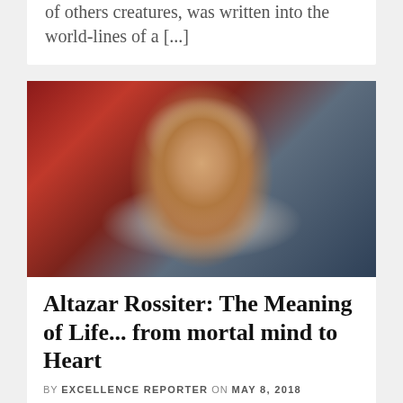of others creatures, was written into the world-lines of a [...]
[Figure (photo): Portrait photo of an elderly man with white hair and a short grey beard, wearing a blue jacket and light blue shirt, photographed outdoors against a background of red foliage.]
Altazar Rossiter: The Meaning of Life... from mortal mind to Heart
BY EXCELLENCE REPORTER ON MAY 8, 2018
Excellence Reporter: Altazar, what is the meaning of life? Altazar Rossiter: